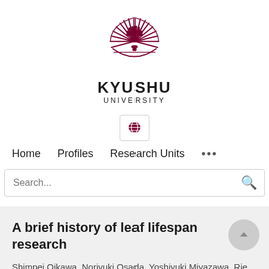[Figure (logo): Kyushu University logo — a stylized sunburst emblem in dark red/maroon above the text KYUSHU UNIVERSITY]
KYUSHU UNIVERSITY
[Figure (infographic): Globe icon button for language/region selection]
Home   Profiles   Research Units   ...
Search...
A brief history of leaf lifespan research
Shimpei Oikawa, Noriyuki Osada, Yoshiyuki Miyazawa, Rie